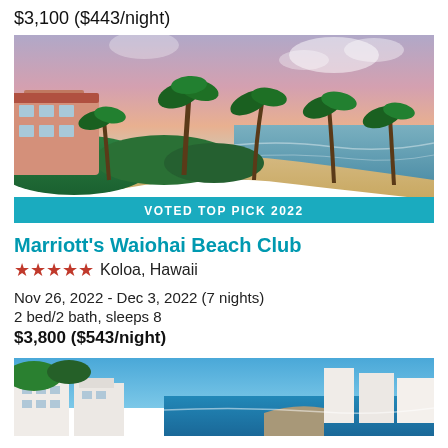$3,100 ($443/night)
[Figure (photo): Aerial/ground view of tropical beach resort with palm trees, lush greenery, sandy beach, and ocean at dusk/dawn. A pink/coral building visible on the left. Banner at bottom reads VOTED TOP PICK 2022.]
Marriott's Waiohai Beach Club
★★★★★ Koloa, Hawaii
Nov 26, 2022 - Dec 3, 2022 (7 nights)
2 bed/2 bath, sleeps 8
$3,800 ($543/night)
[Figure (photo): Coastal resort with white buildings and blue ocean, tropical setting.]